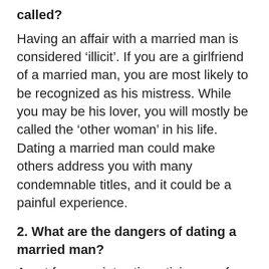called?
Having an affair with a married man is considered ‘illicit’. If you are a girlfriend of a married man, you are most likely to be recognized as his mistress. While you may be his lover, you will mostly be called the ‘other woman’ in his life. Dating a married man could make others address you with many condemnable titles, and it could be a painful experience.
2. What are the dangers of dating a married man?
Apart from society stigmatizing you for being the ‘other woman’, dating a married man could